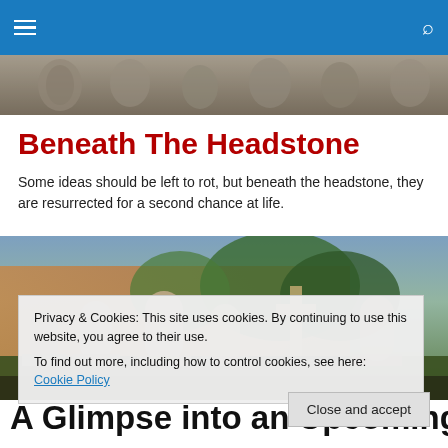Beneath The Headstone - navigation bar
[Figure (photo): A horizontal strip photo of old weathered stone statues or carved grave markers, muted grey tones.]
Beneath The Headstone
Some ideas should be left to rot, but beneath the headstone, they are resurrected for a second chance at life.
[Figure (photo): A wide outdoor cemetery photo showing multiple old weathered headstones and crosses against a brick wall with trees and greenery.]
Privacy & Cookies: This site uses cookies. By continuing to use this website, you agree to their use.
To find out more, including how to control cookies, see here: Cookie Policy
Close and accept
A Glimpse into an Upcoming